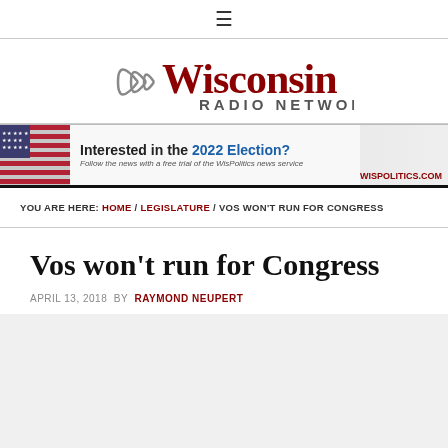≡
[Figure (logo): Wisconsin Radio Network logo with radio wave arcs in gray and red text]
[Figure (infographic): Ad banner: Interested in the 2022 Election? Follow the news with a free trial of the WisPolitics news service. WisPolitics.com]
YOU ARE HERE: HOME / LEGISLATURE / VOS WON'T RUN FOR CONGRESS
Vos won't run for Congress
APRIL 13, 2018 BY RAYMOND NEUPERT